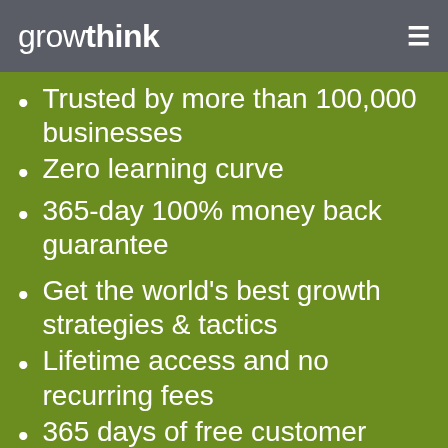growthink
Trusted by more than 100,000 businesses
Zero learning curve
365-day 100% money back guarantee
Get the world’s best growth strategies & tactics
Lifetime access and no recurring fees
365 days of free customer support
“Insider Secrets to Raising